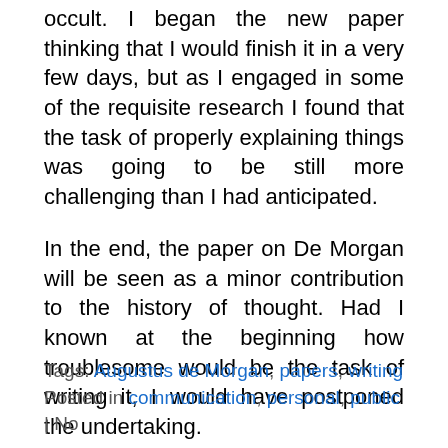occult. I began the new paper thinking that I would finish it in a very few days, but as I engaged in some of the requisite research I found that the task of properly explaining things was going to be still more challenging than I had anticipated.
In the end, the paper on De Morgan will be seen as a minor contribution to the history of thought. Had I known at the beginning how troublesome would be the task of writing it, I would have postponed the undertaking.
Tags: Augustus de Morgan, papers, writing
Posted in communication, personal, public | No